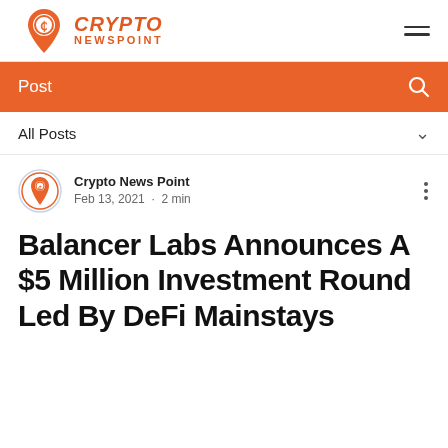Crypto News Point — navigation header with logo and hamburger menu
Post
All Posts
Crypto News Point
Feb 13, 2021 · 2 min
Balancer Labs Announces A $5 Million Investment Round Led By DeFi Mainstays